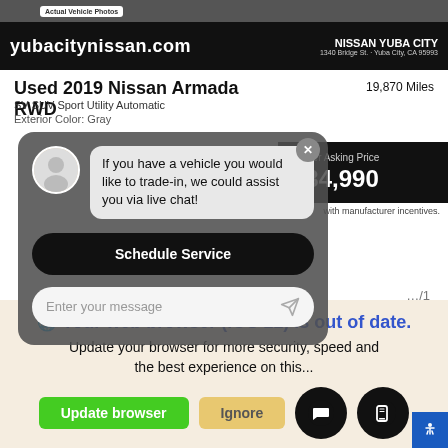[Figure (screenshot): Top image area with 'Actual Vehicle Photos' badge on gray background]
yubacitynissan.com | NISSAN YUBA CITY | 1340 Bridge St. · Yuba City, CA 95993
Used 2019 Nissan Armada RWD
SV SUV Sport Utility Automatic
19,870 Miles
Exterior Color: Gray
[Figure (screenshot): Live chat overlay with agent avatar, message bubble saying 'If you have a vehicle you would like to trade-in, we could assist you via live chat!', Schedule Service button, and message input field]
Dealer Asking Price
$34,990
with manufacturer incentives.
website and our service.
Your web browser (iOS 11) is out of date.
Update your browser for more security, speed and the best experience on this...
Update browser
Ignore